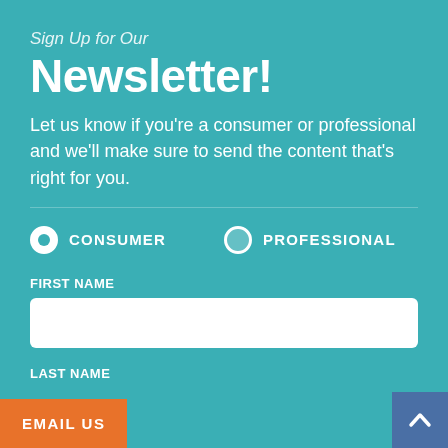Sign Up for Our
Newsletter!
Let us know if you’re a consumer or professional and we’ll make sure to send the content that’s right for you.
CONSUMER (selected radio button)
PROFESSIONAL (unselected radio button)
FIRST NAME
LAST NAME
EMAIL US